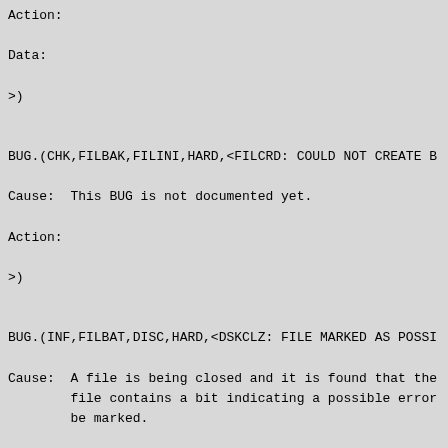Action:
Data:
>)
BUG.(CHK,FILBAK,FILINI,HARD,<FILCRD: COULD NOT CREATE B
Cause:  This BUG is not documented yet.
Action:
>)
BUG.(INF,FILBAT,DISC,HARD,<DSKCLZ: FILE MARKED AS POSSI
Cause:  A file is being closed and it is found that the
        file contains a bit indicating a possible error
        be marked.
Data:   DIRNUM - directory number
        STR - structure name in SIXBIT
>)
BUG.(CHK,FILBOT,FILINI,HARD,<COULD NOT CREATE BOOTSTRAP
Cause:  This BUG is not documented yet.